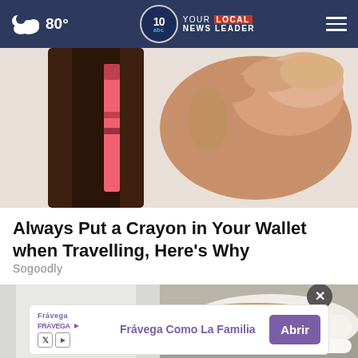80° — NEWS 10 YOUR LOCAL NEWS LEADER
[Figure (photo): Close-up of a hand placing a pink/red crayon into a dark brown leather wallet]
Always Put a Crayon in Your Wallet when Travelling, Here's Why
Sogoodly
[Figure (photo): Person wearing white jeans and white slip-on shoes with gold/brown accents, standing on pavement]
Frávega
Frávega Como La Familia
Abrir